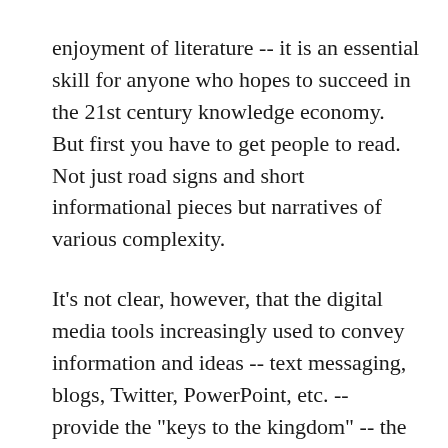enjoyment of literature -- it is an essential skill for anyone who hopes to succeed in the 21st century knowledge economy. But first you have to get people to read. Not just road signs and short informational pieces but narratives of various complexity.
It's not clear, however, that the digital media tools increasingly used to convey information and ideas -- text messaging, blogs, Twitter, PowerPoint, etc. -- provide the "keys to the kingdom" -- the ability to analyze, synthesize, compare, and evaluate ideas and draw inferences -- in the same way or as effectively as frequent exposure to print texts did for earlier